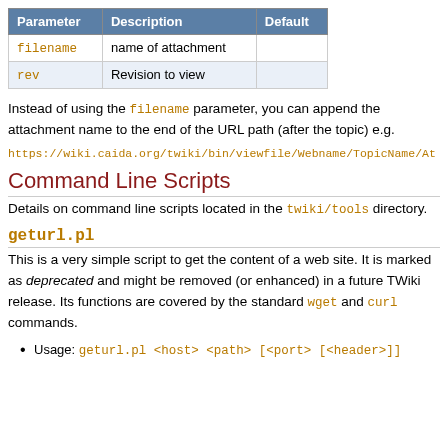| Parameter | Description | Default |
| --- | --- | --- |
| filename | name of attachment |  |
| rev | Revision to view |  |
Instead of using the filename parameter, you can append the attachment name to the end of the URL path (after the topic) e.g.
https://wiki.caida.org/twiki/bin/viewfile/Webname/TopicName/At
Command Line Scripts
Details on command line scripts located in the twiki/tools directory.
geturl.pl
This is a very simple script to get the content of a web site. It is marked as deprecated and might be removed (or enhanced) in a future TWiki release. Its functions are covered by the standard wget and curl commands.
Usage: geturl.pl <host> <path> [<port> [<header>]]